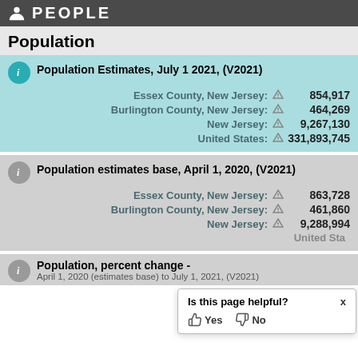PEOPLE
Population
Population Estimates, July 1 2021, (V2021)
| Location | Value |
| --- | --- |
| Essex County, New Jersey: | 854,917 |
| Burlington County, New Jersey: | 464,269 |
| New Jersey: | 9,267,130 |
| United States: | 331,893,745 |
Population estimates base, April 1, 2020, (V2021)
| Location | Value |
| --- | --- |
| Essex County, New Jersey: | 863,728 |
| Burlington County, New Jersey: | 461,860 |
| New Jersey: | 9,288,994 |
| United States: | (partially hidden) |
Population, percent change -
Is this page helpful? Yes / No